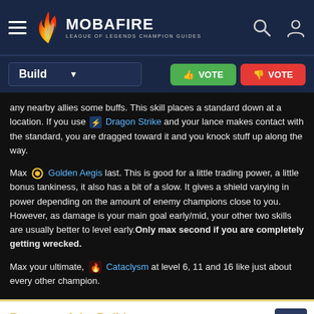MOBAFIRE LEAGUE OF LEGENDS CHAMPION GUIDES
Build [dropdown] VOTE VOTE
any nearby allies some buffs. This skill places a standard down at a location. If you use Dragon Strike and your lance makes contact with the standard, you are dragged toward it and you knock stuff up along the way.
Max Golden Aegis last. This is good for a little trading power, a little bonus tankiness, it also has a bit of a slow. It gives a shield varying in power depending on the amount of enemy champions close to you. However, as damage is your main goal early/mid, your other two skills are usually better to level early. Only max second if you are completely getting wrecked.
Max your ultimate, Cataclysm at level 6, 11 and 16 like just about every other champion.
Purpose of the Build
The build starts out with a lot of damage to take advantage of his kit and